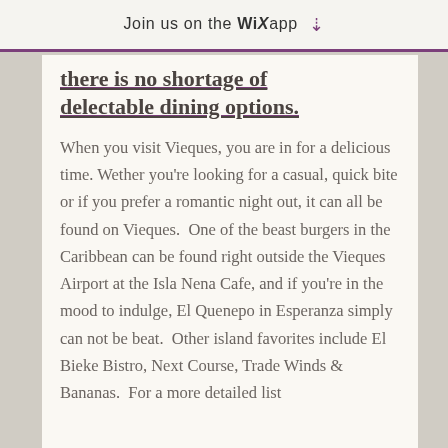Join us on the WiX app ↓
there is no shortage of delectable dining options.
When you visit Vieques, you are in for a delicious time. Wether you're looking for a casual, quick bite or if you prefer a romantic night out, it can all be found on Vieques.  One of the beast burgers in the Caribbean can be found right outside the Vieques Airport at the Isla Nena Cafe, and if you're in the mood to indulge, El Quenepo in Esperanza simply can not be beat.  Other island favorites include El Bieke Bistro, Next Course, Trade Winds & Bananas.  For a more detailed list